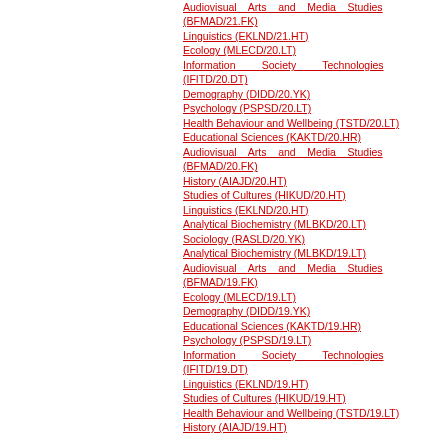Audiovisual Arts and Media Studies (BFMAD/21.FK)
Linguistics (EKLND/21.HT)
Ecology (MLECD/20.LT)
Information Society Technologies (IFITD/20.DT)
Demography (DIDD/20.YK)
Psychology (PSPSD/20.LT)
Health Behaviour and Wellbeing (TSTD/20.LT)
Educational Sciences (KAKTD/20.HR)
Audiovisual Arts and Media Studies (BFMAD/20.FK)
History (AIAJD/20.HT)
Studies of Cultures (HIKUD/20.HT)
Linguistics (EKLND/20.HT)
Analytical Biochemistry (MLBKD/20.LT)
Sociology (RASLD/20.YK)
Analytical Biochemistry (MLBKD/19.LT)
Audiovisual Arts and Media Studies (BFMAD/19.FK)
Ecology (MLECD/19.LT)
Demography (DIDD/19.YK)
Educational Sciences (KAKTD/19.HR)
Psychology (PSPSD/19.LT)
Information Society Technologies (IFITD/19.DT)
Linguistics (EKLND/19.HT)
Studies of Cultures (HIKUD/19.HT)
Health Behaviour and Wellbeing (TSTD/19.LT)
History (AIAJD/19.HT)